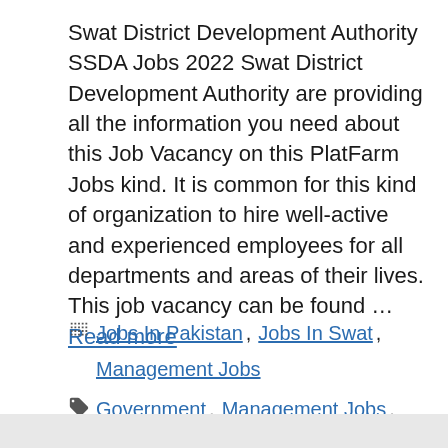Swat District Development Authority SSDA Jobs 2022 Swat District Development Authority are providing all the information you need about this Job Vacancy on this PlatFarm Jobs kind. It is common for this kind of organization to hire well-active and experienced employees for all departments and areas of their lives. This job vacancy can be found ... Read more
Categories: Jobs In Pakistan, Jobs In Swat, Management Jobs
Tags: Government, Management Jobs, SSDA